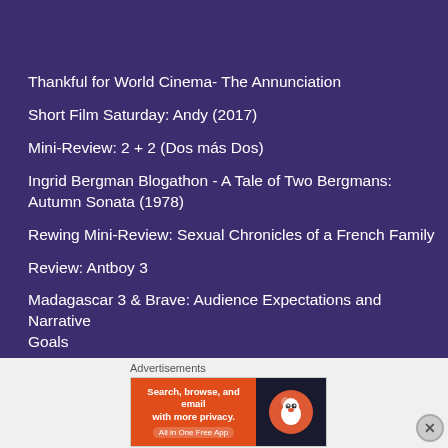Top Posts & Pages
Thankful for World Cinema- The Annunciation
Short Film Saturday: Andy (2017)
Mini-Review: 2 + 2 (Dos más Dos)
Ingrid Bergman Blogathon - A Tale of Two Bergmans: Autumn Sonata (1978)
Rewing Mini-Review: Sexual Chronicles of a French Family
Review: Antboy 3
Madagascar 3 & Brave: Audience Expectations and Narrative Goals
Advertisements
[Figure (screenshot): DuckDuckGo advertisement banner: Search, browse, and email with more privacy. All in One Free App. Shows DuckDuckGo duck logo on dark background.]